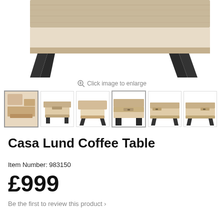[Figure (photo): Close-up top view of a wooden coffee table with black metal legs and an open shelf, showing the grain texture of the wood top]
Click image to enlarge
[Figure (photo): Row of 6 product thumbnail images of the Casa Lund Coffee Table from various angles]
Casa Lund Coffee Table
Item Number: 983150
£999
Be the first to review this product >